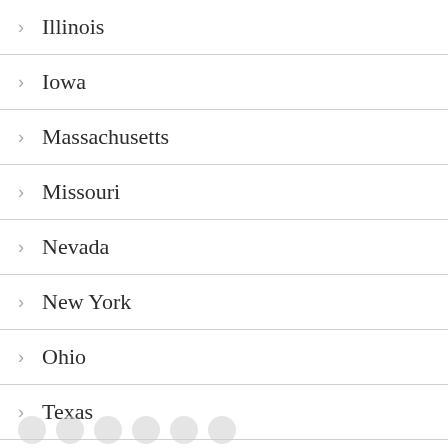Illinois
Iowa
Massachusetts
Missouri
Nevada
New York
Ohio
Texas
Utah
Wisconsin